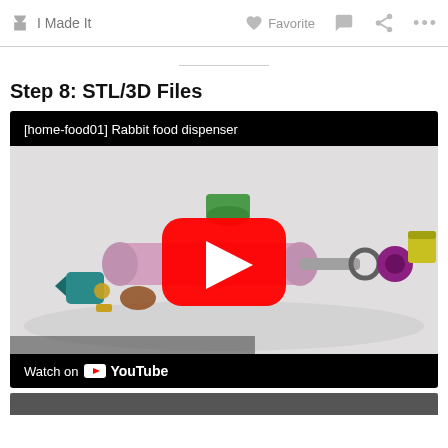✋ I Made It   ♡ Favorite  💬  ⬡  …
Step 8: STL/3D Files
[Figure (screenshot): YouTube video embed showing '[home-food01] Rabbit food dispenser' with a 3D CAD exploded view of rabbit food dispenser parts (green cap, pink body, teal and yellow parts) and a red YouTube play button. Bottom bar shows 'Watch on YouTube'.]